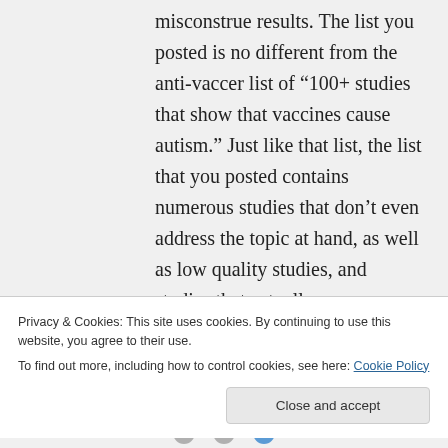misconstrue results. The list you posted is no different from the anti-vaccer list of “100+ studies that show that vaccines cause autism.” Just like that list, the list that you posted contains numerous studies that don’t even address the topic at hand, as well as low quality studies, and studies that actually
Privacy & Cookies: This site uses cookies. By continuing to use this website, you agree to their use.
To find out more, including how to control cookies, see here: Cookie Policy
Close and accept